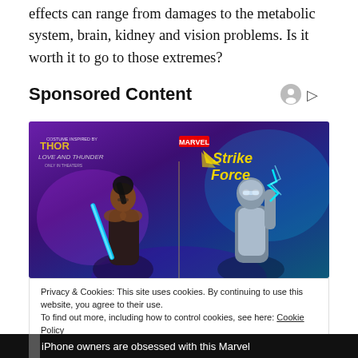effects can range from damages to the metabolic system, brain, kidney and vision problems. Is it worth it to go to those extremes?
Sponsored Content
[Figure (illustration): Marvel Strike Force advertisement banner featuring two characters from Thor: Love and Thunder. Left character is a dark-skinned woman with braided hair holding a blue energy sword. Right character is a silver-armored figure. Marvel Strike Force logo in yellow and white text on purple/teal gradient background.]
Privacy & Cookies: This site uses cookies. By continuing to use this website, you agree to their use.
To find out more, including how to control cookies, see here: Cookie Policy
Close and accept
iPhone owners are obsessed with this Marvel